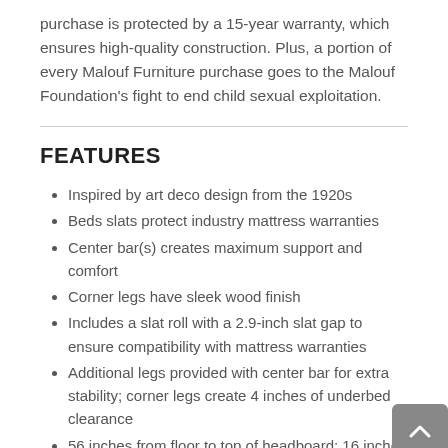purchase is protected by a 15-year warranty, which ensures high-quality construction. Plus, a portion of every Malouf Furniture purchase goes to the Malouf Foundation's fight to end child sexual exploitation.
FEATURES
Inspired by art deco design from the 1920s
Beds slats protect industry mattress warranties
Center bar(s) creates maximum support and comfort
Corner legs have sleek wood finish
Includes a slat roll with a 2.9-inch slat gap to ensure compatibility with mattress warranties
Additional legs provided with center bar for extra stability; corner legs create 4 inches of underbed clearance
56 inches from floor to top of headboard; 16 inches from floor to top of side rail with a 2-inchthick side